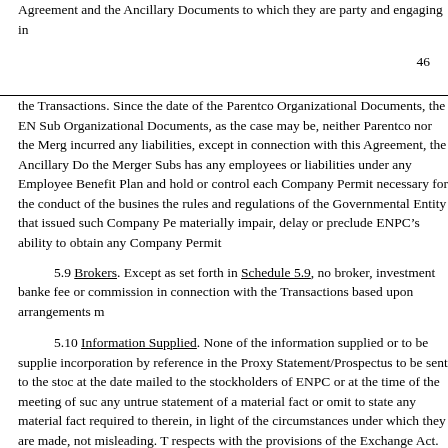Agreement and the Ancillary Documents to which they are party and engaging in
46
the Transactions. Since the date of the Parentco Organizational Documents, the EN Sub Organizational Documents, as the case may be, neither Parentco nor the Merg incurred any liabilities, except in connection with this Agreement, the Ancillary Do the Merger Subs has any employees or liabilities under any Employee Benefit Plan and hold or control each Company Permit necessary for the conduct of the busines the rules and regulations of the Governmental Entity that issued such Company Pe materially impair, delay or preclude ENPC’s ability to obtain any Company Permit
5.9 Brokers. Except as set forth in Schedule 5.9, no broker, investment banke fee or commission in connection with the Transactions based upon arrangements m
5.10 Information Supplied. None of the information supplied or to be supplie incorporation by reference in the Proxy Statement/Prospectus to be sent to the stoc at the date mailed to the stockholders of ENPC or at the time of the meeting of suc any untrue statement of a material fact or omit to state any material fact required to therein, in light of the circumstances under which they are made, not misleading. T respects with the provisions of the Exchange Act. Notwithstanding the foregoing, N covenant with respect to (a) statements made or incorporated by reference therein b Entities for inclusion or incorporation by reference in the Proxy Statement/Prospec Statement/Prospectus.
5.11 No Additional Representations.
(a) Except for the representations and warranties made in Article VI